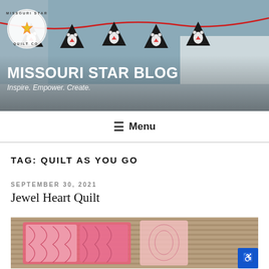[Figure (photo): Header image of Missouri Star Blog showing penguin bunting banner and logo circle with text MISSOURI STAR QUILT CO.]
MISSOURI STAR BLOG
Inspire. Empower. Create.
≡ Menu
TAG: QUILT AS YOU GO
SEPTEMBER 30, 2021
Jewel Heart Quilt
[Figure (photo): Photo of a pink and white patterned quilt on a striped mat surface]